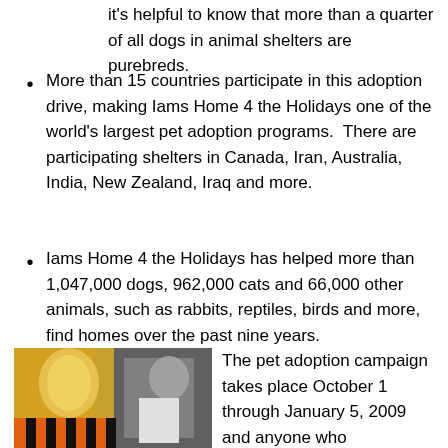it's helpful to know that more than a quarter of all dogs in animal shelters are purebreds.
More than 15 countries participate in this adoption drive, making Iams Home 4 the Holidays one of the world's largest pet adoption programs.  There are participating shelters in Canada, Iran, Australia, India, New Zealand, Iraq and more.
Iams Home 4 the Holidays has helped more than 1,047,000 dogs, 962,000 cats and 66,000 other animals, such as rabbits, reptiles, birds and more, find homes over the past nine years.
[Figure (photo): A man in sunglasses and white shirt with a costumed character in orange and yellow tiger/mascot outfit outdoors]
The pet adoption campaign takes place October 1 through January 5, 2009 and anyone who